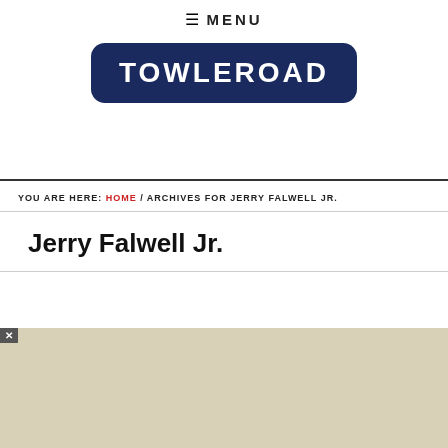≡ MENU
[Figure (logo): Towleroad logo — white text on dark navy rounded rectangle background]
YOU ARE HERE: HOME / ARCHIVES FOR JERRY FALWELL JR.
Jerry Falwell Jr.